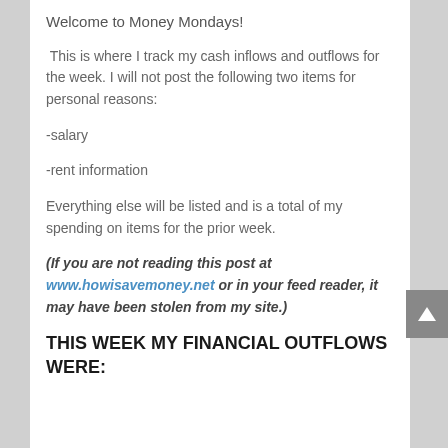Welcome to Money Mondays!
This is where I track my cash inflows and outflows for the week. I will not post the following two items for personal reasons:
-salary
-rent information
Everything else will be listed and is a total of my spending on items for the prior week.
(If you are not reading this post at www.howisavemoney.net or in your feed reader, it may have been stolen from my site.)
THIS WEEK MY FINANCIAL OUTFLOWS WERE: